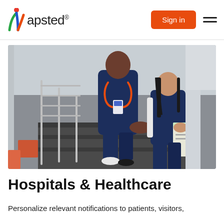Mapsted® — Sign in
[Figure (photo): Aerial view of two healthcare workers in navy blue scrubs on a staircase with metal railings. The male worker on the left wears a red stethoscope and an ID badge; the female worker on the right holds a folder. They appear to be reviewing information together.]
Hospitals & Healthcare
Personalize relevant notifications to patients, visitors,